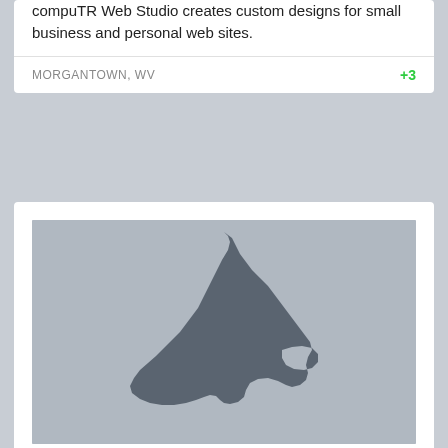compuTR Web Studio creates custom designs for small business and personal web sites.
MORGANTOWN, WV
+3
[Figure (map): Silhouette map of West Virginia state on a light grey background]
CMS/ERM
At CMS/ERM, we understand that no fabrication is complete without a superior protective coating. We offer the latest in powder coating and wet spray coati...